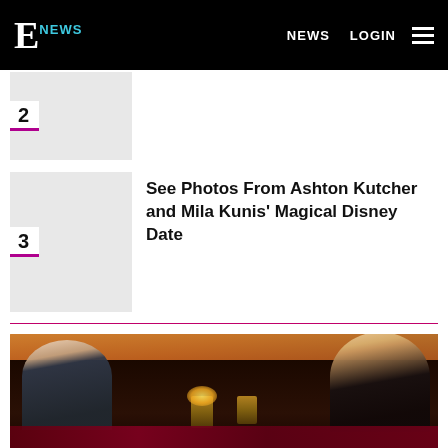E NEWS | NEWS | LOGIN
[Figure (photo): Placeholder thumbnail for article 2]
2
[Figure (photo): Thumbnail for Ashton Kutcher and Mila Kunis article]
3
See Photos From Ashton Kutcher and Mila Kunis' Magical Disney Date
[Figure (photo): A man in a suit and a woman with long blonde hair sit on a couch, apparently on a television show set, with an audience in the background and decorative candles on a table between them. Red roses visible at the bottom.]